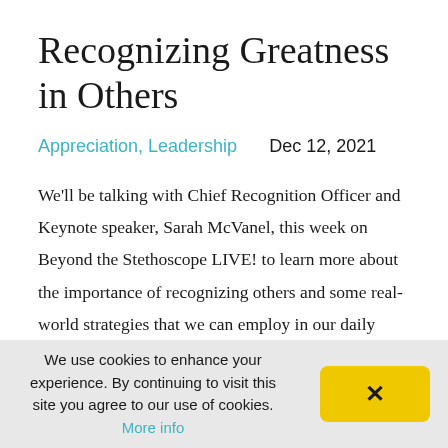Recognizing Greatness in Others
Appreciation, Leadership   Dec 12, 2021
We'll be talking with Chief Recognition Officer and Keynote speaker, Sarah McVanel, this week on Beyond the Stethoscope LIVE! to learn more about the importance of recognizing others and some real-world strategies that we can employ in our daily lives.
It's bound to be a great conversation and one
We use cookies to enhance your experience. By continuing to visit this site you agree to our use of cookies. More info